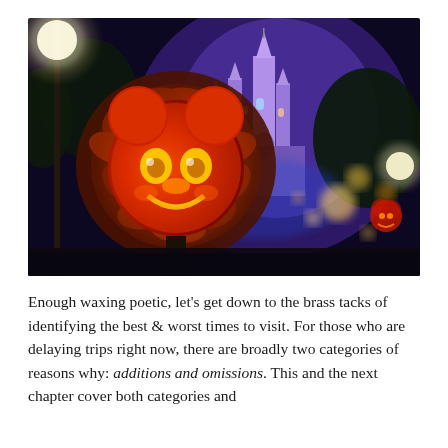[Figure (photo): Nighttime photo at Disney Magic Kingdom showing a Mickey Mouse-shaped pumpkin lantern glowing red-orange in the foreground, surrounded by autumn leaves on a lamp post, with Cinderella Castle lit in blue and purple in the background, along with other warm lights and decorations.]
Enough waxing poetic, let's get down to the brass tacks of identifying the best & worst times to visit. For those who are delaying trips right now, there are broadly two categories of reasons why: additions and omissions. This and the next chapter cover both categories and